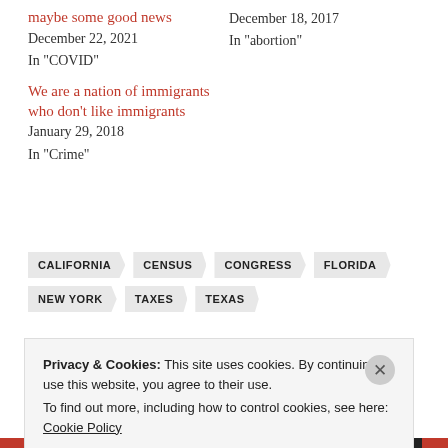maybe some good news
December 22, 2021
In "COVID"
December 18, 2017
In "abortion"
We are a nation of immigrants who don’t like immigrants
January 29, 2018
In "Crime"
CALIFORNIA
CENSUS
CONGRESS
FLORIDA
NEW YORK
TAXES
TEXAS
Privacy & Cookies: This site uses cookies. By continuing to use this website, you agree to their use.
To find out more, including how to control cookies, see here: Cookie Policy
Close and accept